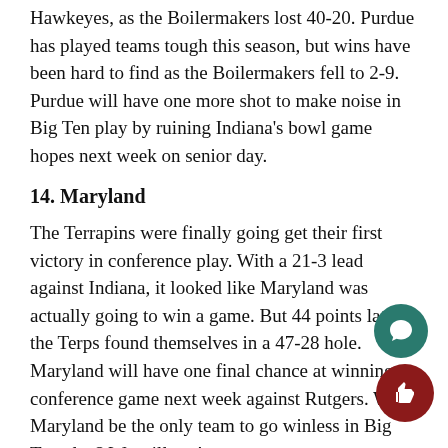Hawkeyes, as the Boilermakers lost 40-20. Purdue has played teams tough this season, but wins have been hard to find as the Boilermakers fell to 2-9. Purdue will have one more shot to make noise in Big Ten play by ruining Indiana's bowl game hopes next week on senior day.
14. Maryland
The Terrapins were finally going get their first victory in conference play. With a 21-3 lead against Indiana, it looked like Maryland was actually going to win a game. But 44 points later, the Terps found themselves in a 47-28 hole. Maryland will have one final chance at winning a conference game next week against Rutgers. Will Maryland be the only team to go winless in Big Ten play? We will see!
Sports